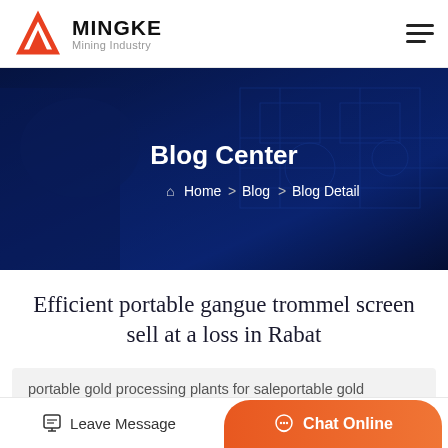MINGKE Mining Industry
[Figure (screenshot): Hero banner with dark blue background showing technical engineering blueprints and a person gesturing, with title 'Blog Center' and breadcrumb 'Home > Blog > Blog Detail']
Efficient portable gangue trommel screen sell at a loss in Rabat
portable gold processing plants for saleportable gold crushing plants for sale ... is composed by hopper, trommel,
Leave Message | Chat Online